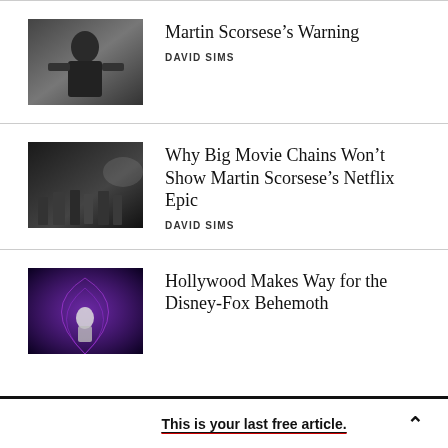[Figure (photo): Martin Scorsese with hands raised at a press event, wearing a suit]
Martin Scorsese’s Warning
DAVID SIMS
[Figure (photo): Scene from a film with men in dark suits walking in a group]
Why Big Movie Chains Won’t Show Martin Scorsese’s Netflix Epic
DAVID SIMS
[Figure (photo): Hollywood scene with purple/blue lighting and a stormtrooper figure]
Hollywood Makes Way for the Disney-Fox Behemoth
This is your last free article.